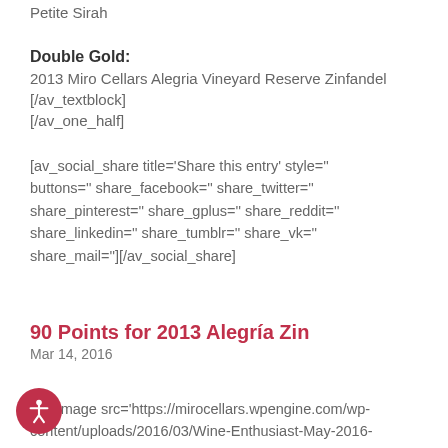Petite Sirah
Double Gold:
2013 Miro Cellars Alegria Vineyard Reserve Zinfandel
[/av_textblock]
[/av_one_half]
[av_social_share title='Share this entry' style='' buttons='' share_facebook='' share_twitter='' share_pinterest='' share_gplus='' share_reddit='' share_linkedin='' share_tumblr='' share_vk='' share_mail=''][/av_social_share]
90 Points for 2013 Alegría Zin
Mar 14, 2016
[av_image src='https://mirocellars.wpengine.com/wp-content/uploads/2016/03/Wine-Enthusiast-May-2016-00×170.png' attachment='572' attachment_size='medium' align='left' styling=''